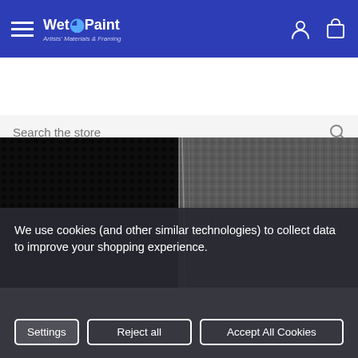Wet Paint – Artists' Materials & Framing – navigation header
Search the store
Home > Paint > Oil > Rublev Artist Oil Color > Natural Pigments Rublev Artist Oil 50ml Tube Bone Black
[Figure (photo): Close-up swatch of Bone Black oil paint on canvas texture: left half shows opaque dark black, right half shows a translucent dark grey wash revealing canvas weave]
We use cookies (and other similar technologies) to collect data to improve your shopping experience.
Settings | Reject all | Accept All Cookies